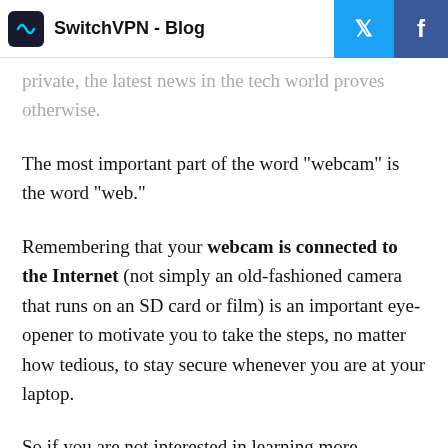SwitchVPN - Blog
private, the latest news in the tech world proves otherwise.
The most important part of the word "webcam" is the word "web."
Remembering that your webcam is connected to the Internet (not simply an old-fashioned camera that runs on an SD card or film) is an important eye-opener to motivate you to take the steps, no matter how tedious, to stay secure whenever you are at your laptop.
So if you are not interested in learning more...